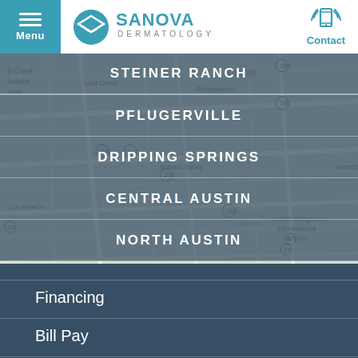[Figure (logo): Sanova Dermatology logo with teal circular envelope icon and company name]
[Figure (map): Google Maps view of the Austin, TX area showing roads and landmarks used as background behind location selection overlay]
STEINER RANCH
PFLUGERVILLE
DRIPPING SPRINGS
CENTRAL AUSTIN
NORTH AUSTIN
Financing
Bill Pay
Media